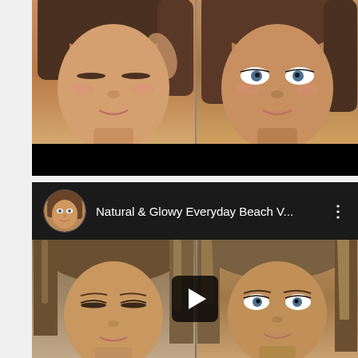[Figure (screenshot): YouTube video thumbnail showing a woman with brunette hair in before/after makeup looks (eyes closed and eyes open), split into two panels side by side. Below the thumbnail is a black control bar.]
[Figure (screenshot): YouTube channel bar with circular avatar photo of a woman, title text 'Natural & Glowy Everyday Beach V...' in white on dark background, and three-dot menu icon on the right.]
Natural & Glowy Everyday Beach V...
[Figure (screenshot): YouTube video thumbnail showing another woman with brunette highlighted hair in before/after makeup looks (eyes closed and eyes open), split into two panels. A play button overlay is centered on the thumbnail.]